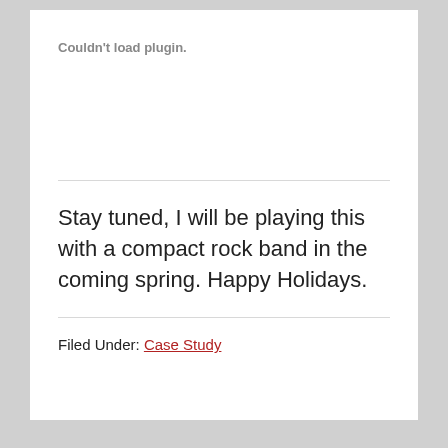Couldn't load plugin.
Stay tuned, I will be playing this with a compact rock band in the coming spring. Happy Holidays.
Filed Under: Case Study